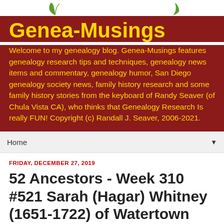[Figure (illustration): Partial decorative logo with green leaf elements on white background above the red header banner]
Genea-Musings
Welcome to my genealogy blog. Genea-Musings features genealogy research tips and techniques, genealogy news items and commentary, genealogy humor, San Diego genealogy society news, family history research and some family history stories from the keyboard of Randy Seaver (of Chula Vista CA), who thinks that Genealogy Research Is really FUN! Copyright (c) Randall J. Seaver, 2006-2021.
Home ▼
FRIDAY, DECEMBER 27, 2019
52 Ancestors - Week 310 #521 Sarah (Hagar) Whitney (1651-1722) of Watertown and Weston, Massachusetts